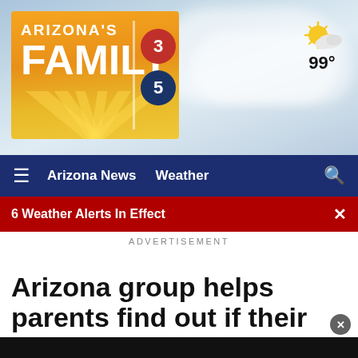[Figure (screenshot): Arizona's Family CBS 3/5 news website header showing logo with orange background, cloudy sky background, and weather showing 99 degrees]
Arizona News   Weather
6 Weather Alerts In Effect
ADVERTISEMENT
Arizona group helps parents find out if their children have autism